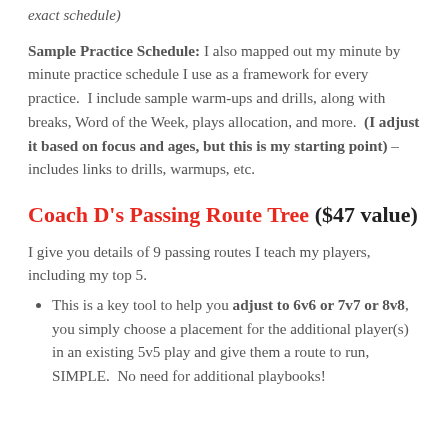exact schedule)
Sample Practice Schedule: I also mapped out my minute by minute practice schedule I use as a framework for every practice. I include sample warm-ups and drills, along with breaks, Word of the Week, plays allocation, and more. (I adjust it based on focus and ages, but this is my starting point) - includes links to drills, warmups, etc.
Coach D's Passing Route Tree ($47 value)
I give you details of 9 passing routes I teach my players, including my top 5.
This is a key tool to help you adjust to 6v6 or 7v7 or 8v8, you simply choose a placement for the additional player(s) in an existing 5v5 play and give them a route to run, SIMPLE. No need for additional playbooks!